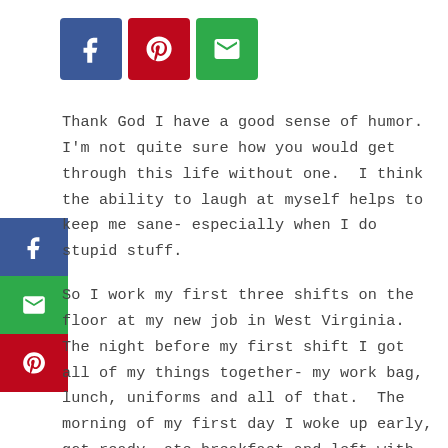[Figure (infographic): Three social share buttons in a row: Facebook (dark blue), Pinterest (red), and email/mail (green), each with a white icon.]
[Figure (infographic): Vertical sidebar with three social share buttons: Facebook (dark blue), email/mail (green), Pinterest (red).]
Thank God I have a good sense of humor. I'm not quite sure how you would get through this life without one. I think the ability to laugh at myself helps to keep me sane- especially when I do stupid stuff.
So I work my first three shifts on the floor at my new job in West Virginia. The night before my first shift I got all of my things together- my work bag, lunch, uniforms and all of that. The morning of my first day I woke up early, got ready, ate breakfast and left with plenty of time to get to the hospital, find parking and get to my unit early. I got to the hospital and parked in the